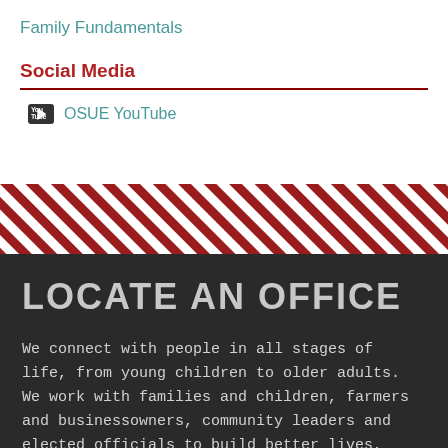Family Fundamentals
Social Media
OSUE YouTube
[Figure (illustration): Diagonal red and white stripe decorative banner]
LOCATE AN OFFICE
We connect with people in all stages of life, from young children to older adults. We work with families and children, farmers and businessowners, community leaders and elected officials to build better lives, better businesses and better